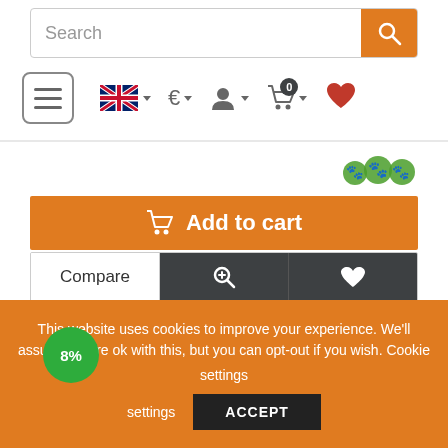[Figure (screenshot): E-commerce website search bar with orange search button and navigation icons row including hamburger menu, UK flag language selector, euro currency selector, user account icon, shopping cart with 0 badge, and heart wishlist icon]
[Figure (screenshot): Orange Add to cart button with shopping cart icon]
[Figure (screenshot): Action buttons row: Compare (white), zoom icon (dark), heart icon (dark)]
[Figure (screenshot): Product card showing K&M 19713 iPad mini stand holder with 8% discount badge and product image]
This website uses cookies to improve your experience. We'll assume you're ok with this, but you can opt-out if you wish. Cookie settings
ACCEPT